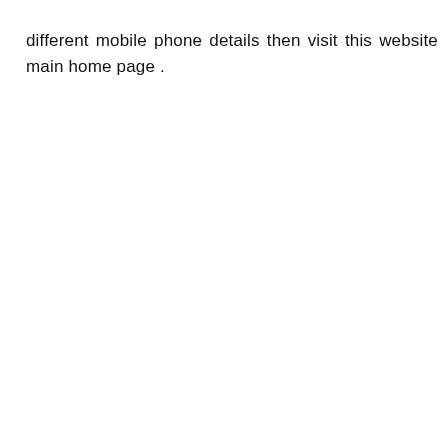different mobile phone details then visit this website main home page .